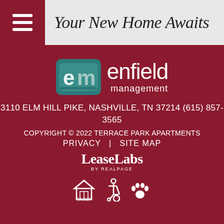Your New Home Awaits
[Figure (logo): Enfield Management logo with teal 'em' icon and white text 'enfield management']
3110 ELM HILL PIKE, NASHVILLE, TN 37214  (615) 857-3565
COPYRIGHT © 2022 TERRACE PARK APARTMENTS
PRIVACY   |   SITE MAP
[Figure (logo): LeaseLabs by RealPage logo in white text]
[Figure (other): Equal Housing, Handicap accessible, and pet friendly icons in white]